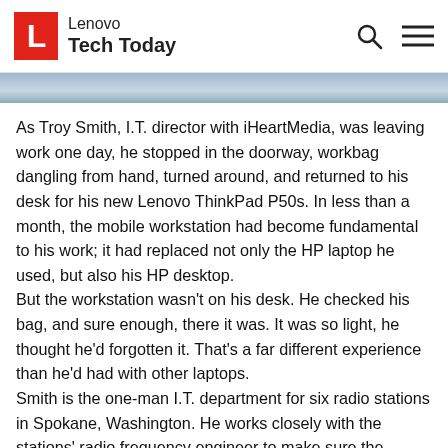Lenovo Tech Today
[Figure (photo): Partial photo strip at top of article, showing a blurred indoor/office scene]
As Troy Smith, I.T. director with iHeartMedia, was leaving work one day, he stopped in the doorway, workbag dangling from hand, turned around, and returned to his desk for his new Lenovo ThinkPad P50s. In less than a month, the mobile workstation had become fundamental to his work; it had replaced not only the HP laptop he used, but also his HP desktop.
But the workstation wasn't on his desk. He checked his bag, and sure enough, there it was. It was so light, he thought he'd forgotten it. That's a far different experience than he'd had with other laptops.
Smith is the one-man I.T. department for six radio stations in Spokane, Washington. He works closely with the stations' radio frequency engineer to make sure the stations stay on the air by keeping the servers running